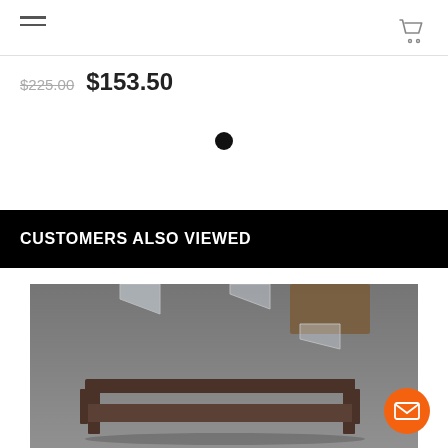Navigation menu and cart icon
$225.00  $153.50
[Figure (other): Filled black circle dot — carousel/slide indicator dot]
CUSTOMERS ALSO VIEWED
[Figure (photo): Photo of a metal shelf or rack with legs on a concrete floor, with acrylic/clear corner brackets visible in the background]